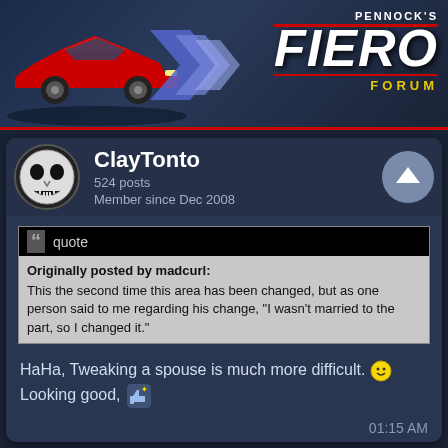[Figure (screenshot): Pennock's Fiero Forum header banner with red Pontiac Fiero car illustration on left and logo on right]
ClayTonto
524 posts
Member since Dec 2008
Originally posted by madcurl:
This the second time this area has been changed, but as one person said to me regarding his change, "I wasn't married to the part, so I changed it."
HaHa, Tweaking a spouse is much more difficult. 😊
Looking good, 👍
01:15 AM
whodeanie
3819 posts
Member since Jan 2008
Don't feel bad Curly, I have re worked some parts of my